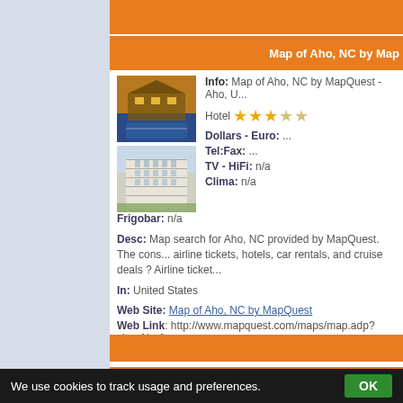Map of Aho, NC by Map...
Info: Map of Aho, NC by MapQuest - Aho, U...
[Figure (photo): Hotel exterior photo - large house with pool at night]
[Figure (photo): Hotel building exterior photo - white multi-story building]
Hotel ★★★☆☆
Dollars - Euro: ...
Tel:Fax: ...
TV - HiFi: n/a
Clima: n/a
Frigobar: n/a
Desc: Map search for Aho, NC provided by MapQuest. The cons... airline tickets, hotels, car rentals, and cruise deals ? Airline ticket...
In: United States
Web Site: Map of Aho, NC by MapQuest
Web Link: http://www.mapquest.com/maps/map.adp?city=Aho&...
We use cookies to track usage and preferences.